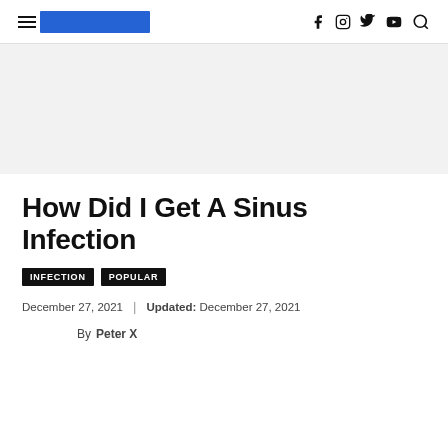Navigation bar with hamburger menu, logo, and social icons (f, Instagram, Twitter, YouTube, Search)
[Figure (other): Gray advertisement banner area]
How Did I Get A Sinus Infection
INFECTION
POPULAR
December 27, 2021 | Updated: December 27, 2021
By Peter X